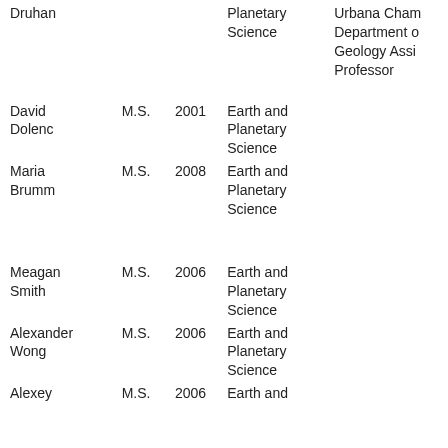| Name | Degree | Year | Department | Position |
| --- | --- | --- | --- | --- |
| Druhan |  |  | Planetary Science | Urbana Cham Department of Geology Assistant Professor |
| David Dolenc | M.S. | 2001 | Earth and Planetary Science |  |
| Maria Brumm | M.S. | 2008 | Earth and Planetary Science |  |
| Meagan Smith | M.S. | 2006 | Earth and Planetary Science |  |
| Alexander Wong | M.S. | 2006 | Earth and Planetary Science |  |
| Alexey | M.S. | 2006 | Earth and |  |